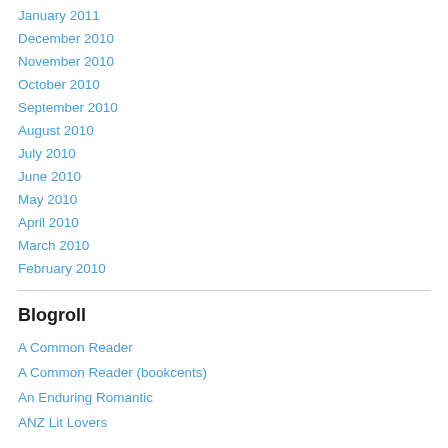January 2011
December 2010
November 2010
October 2010
September 2010
August 2010
July 2010
June 2010
May 2010
April 2010
March 2010
February 2010
Blogroll
A Common Reader
A Common Reader (bookcents)
An Enduring Romantic
ANZ Lit Lovers